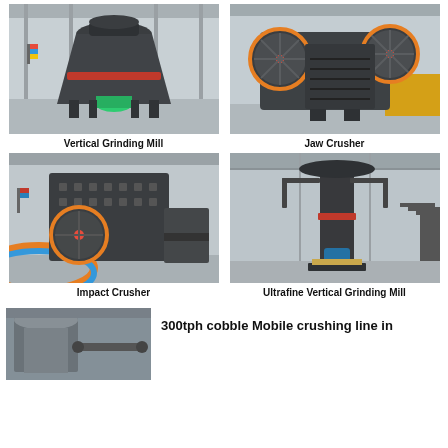[Figure (photo): Vertical Grinding Mill machine in an industrial hall]
Vertical Grinding Mill
[Figure (photo): Jaw Crusher machine with large orange-rimmed flywheels in a factory]
Jaw Crusher
[Figure (photo): Impact Crusher machine with orange ring detail on factory floor]
Impact Crusher
[Figure (photo): Ultrafine Vertical Grinding Mill machine in large industrial building]
Ultrafine Vertical Grinding Mill
[Figure (photo): Partial view of industrial crushing line equipment]
300tph cobble Mobile crushing line in